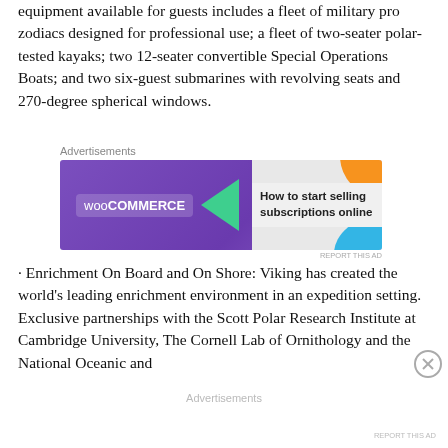equipment available for guests includes a fleet of military pro zodiacs designed for professional use; a fleet of two-seater polar-tested kayaks; two 12-seater convertible Special Operations Boats; and two six-guest submarines with revolving seats and 270-degree spherical windows.
[Figure (other): WooCommerce advertisement banner: purple background with WooCommerce logo and green arrow, text 'How to start selling subscriptions online', with orange and blue decorative shapes. Labeled 'Advertisements' above and 'REPORT THIS AD' below.]
· Enrichment On Board and On Shore: Viking has created the world's leading enrichment environment in an expedition setting. Exclusive partnerships with the Scott Polar Research Institute at Cambridge University, The Cornell Lab of Ornithology and the National Oceanic and
Advertisements